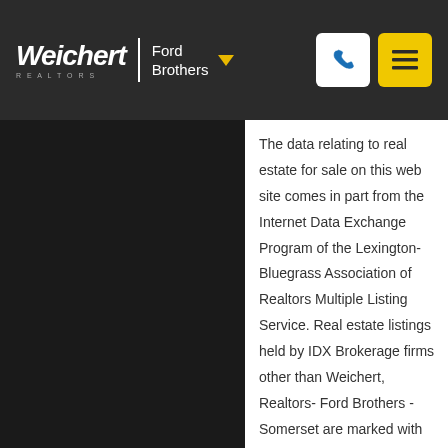Weichert REALTORS | Ford Brothers
The data relating to real estate for sale on this web site comes in part from the Internet Data Exchange Program of the Lexington-Bluegrass Association of Realtors Multiple Listing Service. Real estate listings held by IDX Brokerage firms other than Weichert, Realtors- Ford Brothers - Somerset are marked with the IDX logo or the IDX thumbnail logo and detailed information about